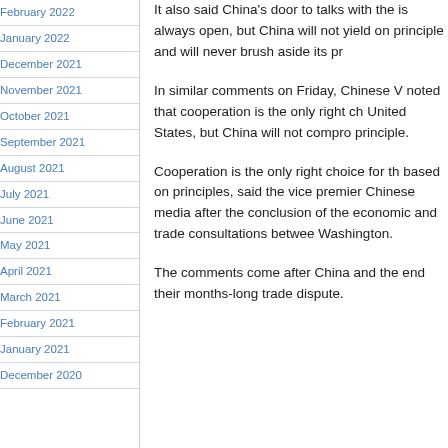February 2022
January 2022
December 2021
November 2021
October 2021
September 2021
August 2021
July 2021
June 2021
May 2021
April 2021
March 2021
February 2021
January 2021
December 2020
It also said China’s door to talks with the is always open, but China will not yield on principle and will never brush aside its pr…
In similar comments on Friday, Chinese V noted that cooperation is the only right ch United States, but China will not compro principle.
Cooperation is the only right choice for th based on principles, said the vice premier Chinese media after the conclusion of the economic and trade consultations betwee Washington.
The comments come after China and the end their months-long trade dispute.